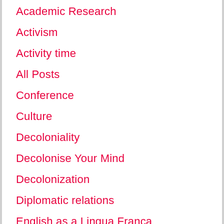Academic Research
Activism
Activity time
All Posts
Conference
Culture
Decoloniality
Decolonise Your Mind
Decolonization
Diplomatic relations
English as a Lingua Franca
Event
Feminism
First impressions
Global Citizenship
Global English